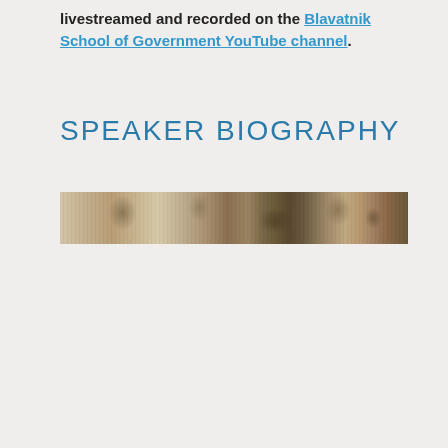livestreamed and recorded on the Blavatnik School of Government YouTube channel.
SPEAKER BIOGRAPHY
[Figure (photo): A horizontal strip photo showing what appears to be a textured outdoor or architectural surface, possibly bark or weathered wood, in earthy brown tones.]